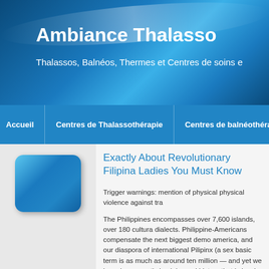Ambiance Thalasso
Thalassos, Balnéos, Thermes et Centres de soins e
Accueil | Centres de Thalassothérapie | Centres de balnéothérapie | Ce
Exactly About Revolutionary Filipina Ladies You Must Know
Trigger warnings: mention of physical physical violence against tra
The Philippines encompasses over 7,600 islands, over 180 cultura dialects. Philippine-Americans compensate the next biggest demo america, and our diaspora of international Pilipinx (a sex basic term is as much as around ten million — and yet we have been mostly in globe and history that is local. Also though our company is an e with populace and Pililpinx are making amazing efforts to art, med more, the planet hasn't recognized us beyond our part whilst the c laborers. I'm right here to improve that.
Through the century that is 10th, we traded with Asia, and by the 1 introduced Islam to your numerous indigenous faiths that people p archipelago location generated revolution after wave of Austrone